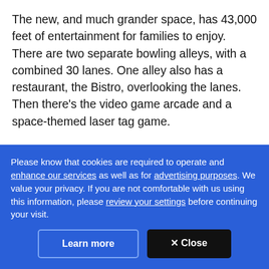The new, and much grander space, has 43,000 feet of entertainment for families to enjoy. There are two separate bowling alleys, with a combined 30 lanes. One alley also has a restaurant, the Bistro, overlooking the lanes. Then there's the video game arcade and a space-themed laser tag game.
"The entertainment space is getting more competitive. A lot more things have come into the market since Academy opened 40 years ago," said Uptown Alley
Please know that cookies are required to operate and enhance our services as well as for advertising purposes. We value your privacy. If you are not comfortable with us using this information, please review your settings before continuing your visit.